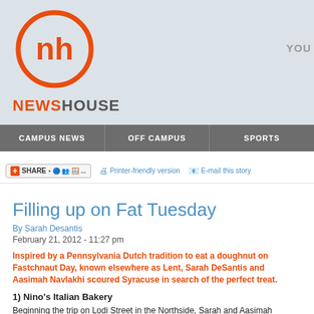[Figure (logo): NewsHouse logo: orange circle with stylized 'nh' monogram, and NEWSHOUSE text below in orange and gray]
YOU
CAMPUS NEWS | OFF CAMPUS | SPORTS
SHARE | Printer-friendly version | E-mail this story
Filling up on Fat Tuesday
By Sarah Desantis
February 21, 2012 - 11:27 pm
Inspired by a Pennsylvania Dutch tradition to eat a doughnut on Fastchnaut Day, known elsewhere as Lent, Sarah DeSantis and Aasimah Navlakhi scoured Syracuse in search of the perfect treat.
1) Nino's Italian Bakery
Beginning the trip on Lodi Street in the Northside, Sarah and Aasimah stopped at Nino's...